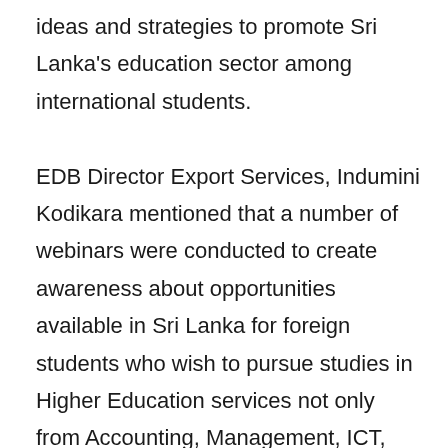ideas and strategies to promote Sri Lanka's education sector among international students.

EDB Director Export Services, Indumini Kodikara mentioned that a number of webinars were conducted to create awareness about opportunities available in Sri Lanka for foreign students who wish to pursue studies in Higher Education services not only from Accounting, Management, ICT, Marketing but also Healthcare training programmes such as Nursing, Wellness, Biomedical science, Physiotherapy and Buddhist Education services.in collaboration with the Sri Lankan missions in Australia, the Maldives, Myanmar, Nepal, Bangladesh, Pakistan, South Korea, the UAE, Vietnam and China.